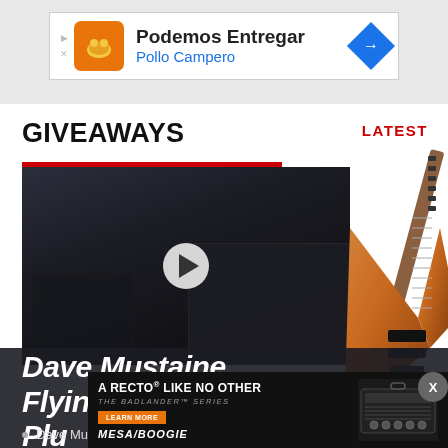[Figure (screenshot): Advertisement banner for Pollo Campero: Podemos Entregar, with orange logo and blue arrow icon]
GIVEAWAYS
LATEST
[Figure (screenshot): Video thumbnail showing a person playing guitar in front of amplifiers, with a play button overlay. A red bar appears at the top. A Flying V style guitar is visible on the right side.]
Dave Mustaine Flying V EXP
[Figure (screenshot): Mesa/Boogie advertisement: A RECTO® LIKE NO OTHER, THE BADLANDER™ SERIES, with Learn More button and amplifier image]
Dave Mustaine Flying V EXP Giveaway